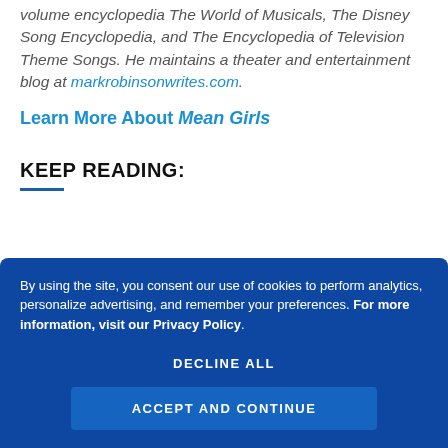volume encyclopedia The World of Musicals, The Disney Song Encyclopedia, and The Encyclopedia of Television Theme Songs. He maintains a theater and entertainment blog at markrobinsonwrites.com.
Learn More About Mean Girls
KEEP READING:
By using the site, you consent our use of cookies to perform analytics, personalize advertising, and remember your preferences. For more information, visit our Privacy Policy.
DECLINE ALL
ACCEPT AND CONTINUE